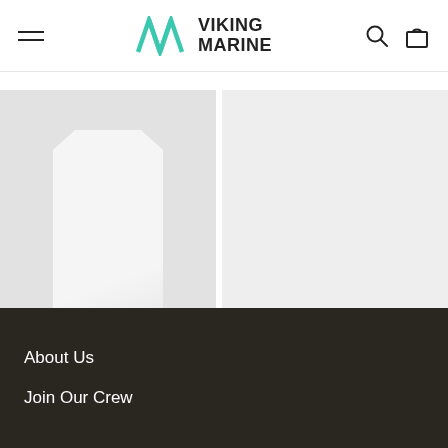Viking Marine — navigation header with hamburger menu, logo, search and cart icons
[Figure (photo): Product image placeholder for North Sails Pique Polo — light grey background with white garment shape]
North Sails Pique Polo
[Figure (photo): Product image placeholder for Helly Hansen Wa... Top — light grey background, partially visible]
Helly Hansen Wa... Top
About Us
Join Our Crew